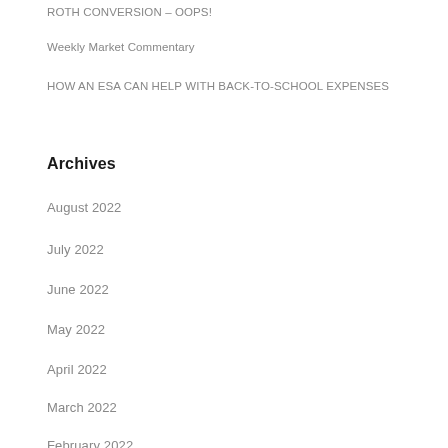ROTH CONVERSION – OOPS!
Weekly Market Commentary
HOW AN ESA CAN HELP WITH BACK-TO-SCHOOL EXPENSES
Archives
August 2022
July 2022
June 2022
May 2022
April 2022
March 2022
February 2022